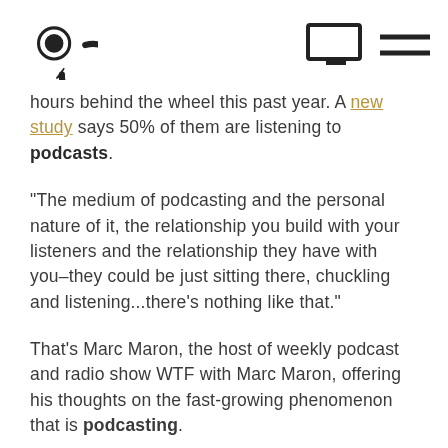[Logo and navigation icons]
hours behind the wheel this past year. A new study says 50% of them are listening to podcasts.
“The medium of podcasting and the personal nature of it, the relationship you build with your listeners and the relationship they have with you–they could be just sitting there, chuckling and listening...there’s nothing like that.”
That's Marc Maron, the host of weekly podcast and radio show WTF with Marc Maron, offering his thoughts on the fast-growing phenomenon that is podcasting.
[partial text continues]